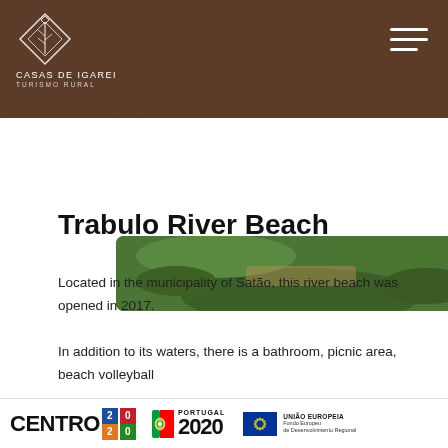CASAS DE IGAREI / TURISMO RURAL
[Figure (photo): Aerial or top-down view of a river beach area with green vegetation and water]
Trabulo River Beach
Located in the municipality of Satão, this river beach was opened in 2017. In addition to its waters, there is a bathroom, picnic area, beach volleyball court, children's playground and a bar.
[Figure (photo): Ground-level view of river beach area with trees and sky]
CENTRO 2020 | PORTUGAL 2020 | UNIÃO EUROPEIA - Fundo Europeu de Desenvolvimento Regional